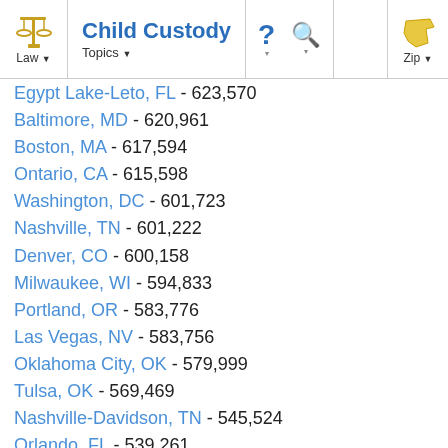Child Custody — Law / Topics / ? / Search / Zip
Egypt Lake-Leto, FL - 623,570
Baltimore, MD - 620,961
Boston, MA - 617,594
Ontario, CA - 615,598
Washington, DC - 601,723
Nashville, TN - 601,222
Denver, CO - 600,158
Milwaukee, WI - 594,833
Portland, OR - 583,776
Las Vegas, NV - 583,756
Oklahoma City, OK - 579,999
Tulsa, OK - 569,469
Nashville-Davidson, TN - 545,524
Orlando, FL - 539,261
Atlanta, GA - 531,648
Tucson, AZ - 520,116